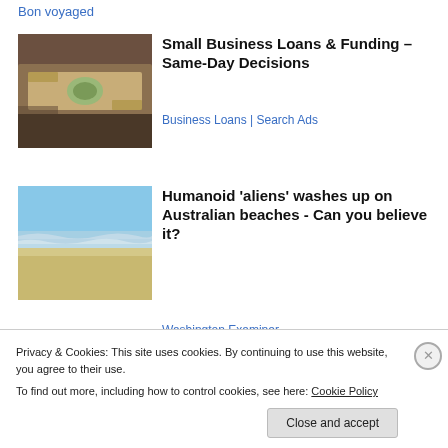Bon voyaged
[Figure (photo): Hands holding US dollar bills]
Small Business Loans & Funding – Same-Day Decisions
Business Loans | Search Ads
[Figure (photo): Ocean beach with waves and sandy shore under blue sky]
Humanoid 'aliens' washes up on Australian beaches - Can you believe it?
Washington Examiner
Privacy & Cookies: This site uses cookies. By continuing to use this website, you agree to their use.
To find out more, including how to control cookies, see here: Cookie Policy
Close and accept